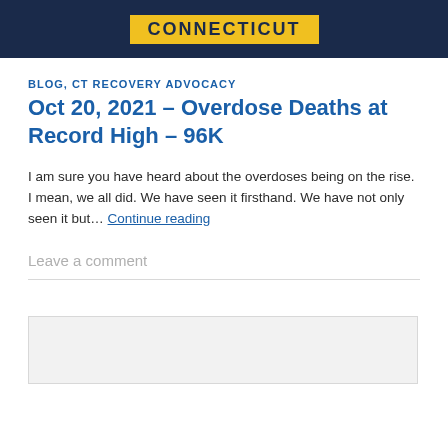[Figure (photo): Dark blue banner with yellow text reading CONNECTICUT]
BLOG, CT RECOVERY ADVOCACY
Oct 20, 2021 – Overdose Deaths at Record High – 96K
I am sure you have heard about the overdoses being on the rise. I mean, we all did. We have seen it firsthand. We have not only seen it but… Continue reading
Leave a comment